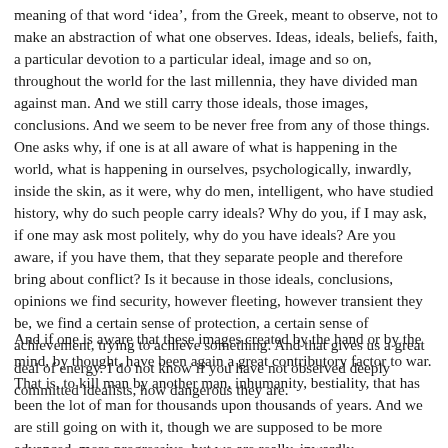meaning of that word 'idea', from the Greek, meant to observe, not to make an abstraction of what one observes. Ideas, ideals, beliefs, faith, a particular devotion to a particular ideal, image and so on, throughout the world for the last millennia, they have divided man against man. And we still carry those ideals, those images, conclusions. And we seem to be never free from any of those things. One asks why, if one is at all aware of what is happening in the world, what is happening in ourselves, psychologically, inwardly, inside the skin, as it were, why do men, intelligent, who have studied history, why do such people carry ideals? Why do you, if I may ask, if one may ask most politely, why do you have ideals? Are you aware, if you have them, that they separate people and therefore bring about conflict? Is it because in those ideals, conclusions, opinions we find security, however fleeting, however transient they be, we find a certain sense of protection, a certain sense of achievement, trying to achieve something. And that gives us a great deal of energy. I do not know if you have not observed deeply committed idealists, how dangerous they are.
And if one is aware that these images created by the hand or by the mind, by thought, have been again a great contributory factor to war. That is, to kill man by another man, inhumanity, bestiality, that has been the lot of man for thousands upon thousands of years. And we are still going on with it, though we are supposed to be more advanced, more progressive, but we are really, inwardly,